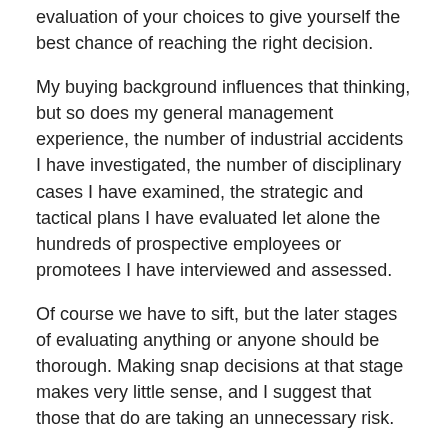evaluation of your choices to give yourself the best chance of reaching the right decision.
My buying background influences that thinking, but so does my general management experience, the number of industrial accidents I have investigated, the number of disciplinary cases I have examined, the strategic and tactical plans I have evaluated let alone the hundreds of prospective employees or promotees I have interviewed and assessed.
Of course we have to sift, but the later stages of evaluating anything or anyone should be thorough. Making snap decisions at that stage makes very little sense, and I suggest that those that do are taking an unnecessary risk.
Rate this: